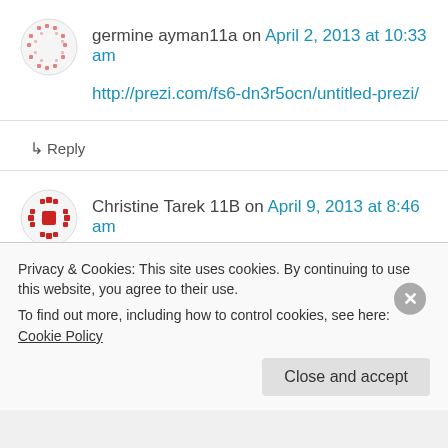germine ayman11a on April 2, 2013 at 10:33 am
http://prezi.com/fs6-dn3r5ocn/untitled-prezi/
↳ Reply
Christine Tarek 11B on April 9, 2013 at 8:46 am
http://prezi.com/utlrdbaolwvj/it-will-be-my-best-day-if/?kw=view-utlrdbaolwvj&rc=ref-31144789
Privacy & Cookies: This site uses cookies. By continuing to use this website, you agree to their use. To find out more, including how to control cookies, see here: Cookie Policy
Close and accept